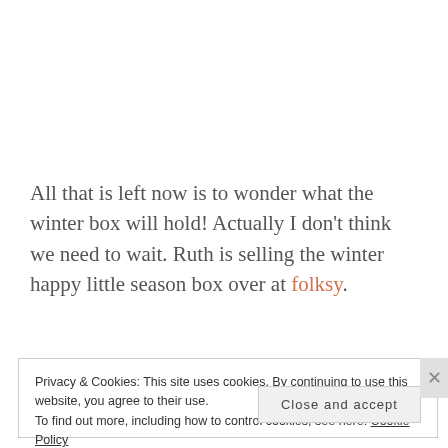All that is left now is to wonder what the winter box will hold! Actually I don't think we need to wait. Ruth is selling the winter happy little season box over at folksy.
Privacy & Cookies: This site uses cookies. By continuing to use this website, you agree to their use.
To find out more, including how to control cookies, see here: Cookie Policy